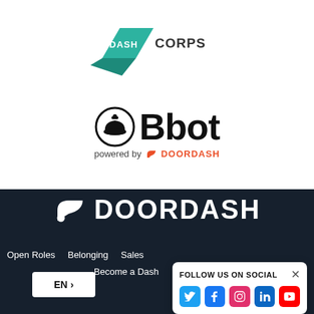[Figure (logo): DashCorps logo — teal chevron/wing shape with text DASHCORPS in teal and dark color]
[Figure (logo): Bbot logo — circular icon with bell/cloche silhouette, large bold text 'Bbot', 'powered by DOORDASH' beneath in orange and black]
[Figure (logo): DOORDASH large white wordmark with white wing/chevron icon on dark navy background]
Open Roles   Belonging   Sales
Become a Dash
EN >
FOLLOW US ON SOCIAL